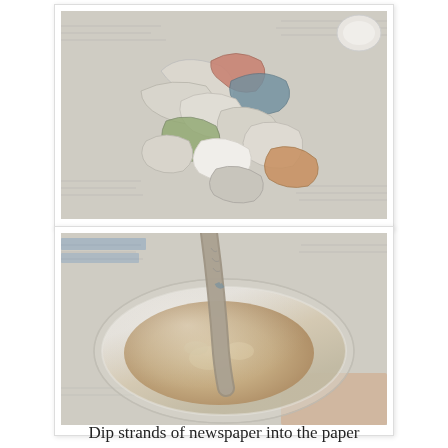[Figure (photo): Overhead view of torn and crumpled newspaper strips piled on a newspaper-covered surface, with a small white bowl visible in the top right corner.]
[Figure (photo): A strip of newspaper being dipped into a glass bowl containing a pale beige papier-mache paste mixture, set on a newspaper-covered surface.]
Dip strands of newspaper into the paper